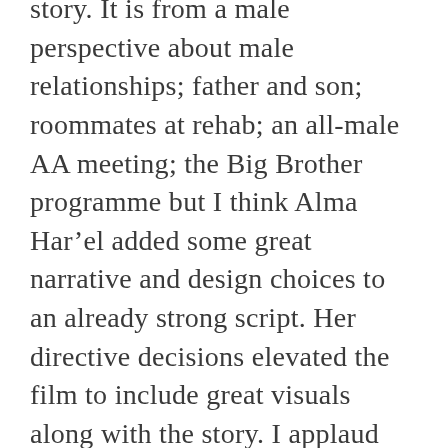story. It is from a male perspective about male relationships; father and son; roommates at rehab; an all-male AA meeting; the Big Brother programme but I think Alma Har'el added some great narrative and design choices to an already strong script. Her directive decisions elevated the film to include great visuals along with the story. I applaud the producers and studio for promoting a female director especially someone who had never done a narrative film before Honey Boy. I think this example goes to show that women are just as capable as men when it comes to being behind the camera.